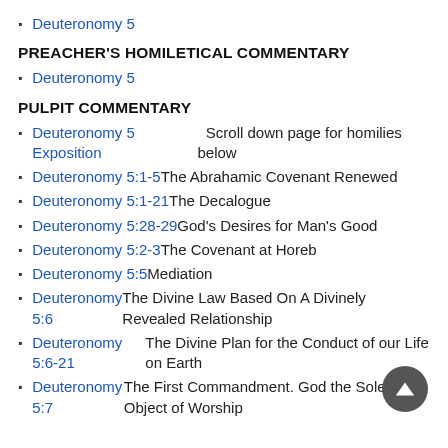Deuteronomy 5
PREACHER'S HOMILETICAL COMMENTARY
Deuteronomy 5
PULPIT COMMENTARY
Deuteronomy 5 Exposition  Scroll down page for homilies below
Deuteronomy 5:1-5 The Abrahamic Covenant Renewed
Deuteronomy 5:1-21 The Decalogue
Deuteronomy 5:28-29 God's Desires for Man's Good
Deuteronomy 5:2-3 The Covenant at Horeb
Deuteronomy 5:5 Mediation
Deuteronomy 5:6 The Divine Law Based On A Divinely Revealed Relationship
Deuteronomy 5:6-21 The Divine Plan for the Conduct of our Life on Earth
Deuteronomy 5:7 The First Commandment. God the Sole Object of Worship